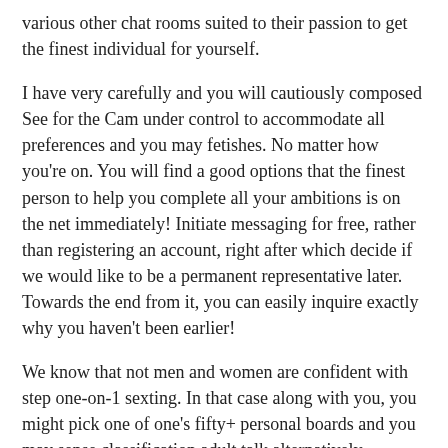various other chat rooms suited to their passion to get the finest individual for yourself.
I have very carefully and you will cautiously composed See for the Cam under control to accommodate all preferences and you may fetishes. No matter how you're on. You will find a good options that the finest person to help you complete all your ambitions is on the net immediately! Initiate messaging for free, rather than registering an account, right after which decide if we would like to be a permanent representative later. Towards the end from it, you can easily inquire exactly why you haven't been earlier!
We know that not men and women are confident with step one-on-1 sexting. In that case along with you, you might pick one of one's fifty+ personal boards and you may sense classification adult talk alternatively. Category chat rooms certainly are the ideal spot to see the latest relatives and partners, and will also be able to talk about any topic one to interests your. So many people from around the world are generally using this webpages, so why not signup him or her?
However, we don't just want to feel various other mature speak webpages. Alternatively, we actually have to enable it to